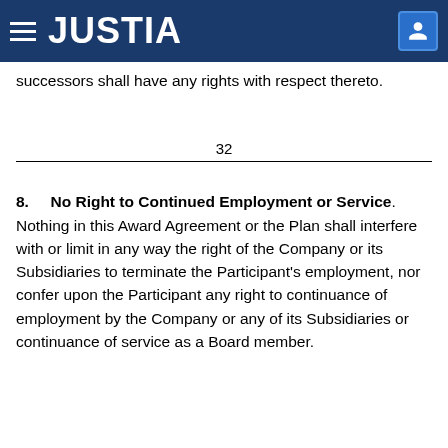JUSTIA
successors shall have any rights with respect thereto.
32
8. No Right to Continued Employment or Service. Nothing in this Award Agreement or the Plan shall interfere with or limit in any way the right of the Company or its Subsidiaries to terminate the Participant's employment, nor confer upon the Participant any right to continuance of employment by the Company or any of its Subsidiaries or continuance of service as a Board member.